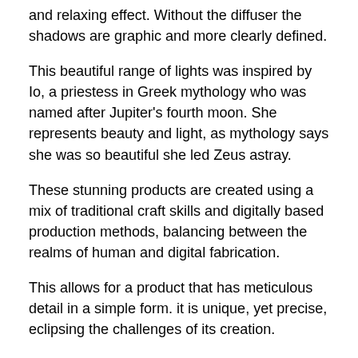and relaxing effect. Without the diffuser the shadows are graphic and more clearly defined.
This beautiful range of lights was inspired by Io, a priestess in Greek mythology who was named after Jupiter's fourth moon. She represents beauty and light, as mythology says she was so beautiful she led Zeus astray.
These stunning products are created using a mix of traditional craft skills and digitally based production methods, balancing between the realms of human and digital fabrication.
This allows for a product that has meticulous detail in a simple form. it is unique, yet precise, eclipsing the challenges of its creation.